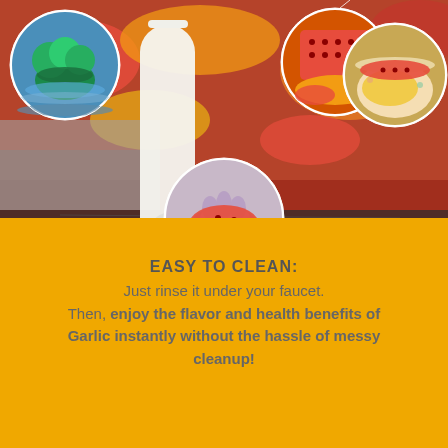[Figure (photo): Product infographic showing a kitchen garlic press/strainer tool with four circular inset photos: broccoli in water, red strainer on food, strainer on bowl of food, and hand holding red strainer. Background shows colorful vegetables.]
EASY TO CLEAN: Just rinse it under your faucet. Then, enjoy the flavor and health benefits of Garlic instantly without the hassle of messy cleanup!